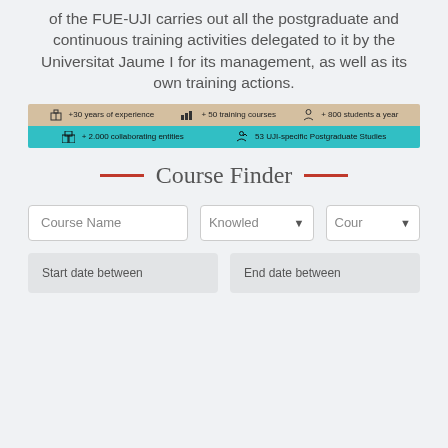of the FUE-UJI carries out all the postgraduate and continuous training activities delegated to it by the Universitat Jaume I for its management, as well as its own training actions.
[Figure (infographic): Stats banner with two rows: top row (tan/beige background) shows '+30 years of experience', '+ 50 training courses', '+ 800 students a year'; bottom row (teal background) shows '+ 2.000 collaborating entities', '53 UJI-specific Postgraduate Studies']
Course Finder
Course Name | Knowledge [dropdown] | Course [dropdown]
Start date between | End date between